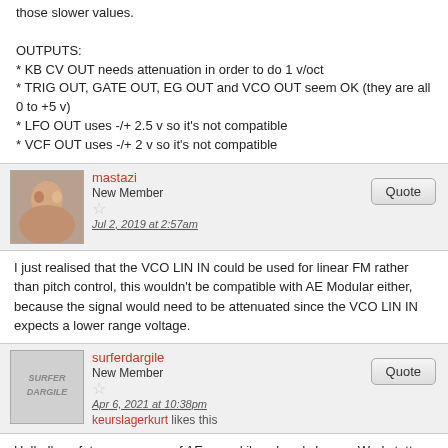those slower values.
OUTPUTS:
* KB CV OUT needs attenuation in order to do 1 v/oct
* TRIG OUT, GATE OUT, EG OUT and VCO OUT seem OK (they are all 0 to +5 v)
* LFO OUT uses -/+ 2.5 v so it's not compatible
* VCF OUT uses -/+ 2 v so it's not compatible
mastazi
New Member
Jul 2, 2019 at 2:57am
I just realised that the VCO LIN IN could be used for linear FM rather than pitch control, this wouldn't be compatible with AE Modular either, because the signal would need to be attenuated since the VCO LIN IN expects a lower range voltage.
surferdargile
New Member
Apr 6, 2021 at 10:38pm
keurslagerkurt likes this
Hello I'm a future new user of AEm, and i've already have a Werkstatt (with cv expander, but i prefer patch it with jumper cables )  .. Would be glad to